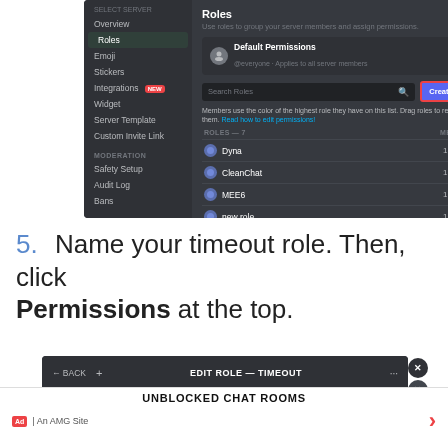[Figure (screenshot): Discord server settings Roles panel showing Default Permissions, a search box with Create Role button (highlighted in red border), and a list of roles: Dyna, CleanChat, MEE6, new role — each with 1 member.]
5.  Name your timeout role. Then, click Permissions at the top.
[Figure (screenshot): Discord Edit Role — Timeout panel showing BACK, a plus icon, EDIT ROLE — TIMEOUT title, ellipsis menu, ESC button, and tabs: Display, Permissions (active, highlighted in red border), Manage Members (0). Left sidebar shows Dyna with green dot.]